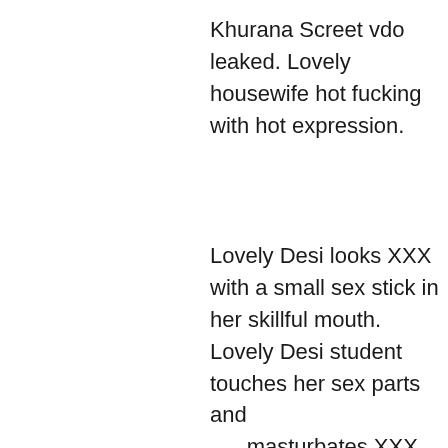Khurana Screet vdo leaked. Lovely housewife hot fucking with hot expression.
Lovely Desi looks XXX with a small sex stick in her skillful mouth. Lovely Desi student touches her sex parts and masturbates XXX pussy. Aunty uncle Hiddencam